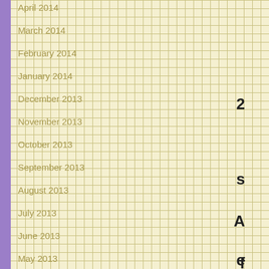April 2014
March 2014
February 2014
January 2014
December 2013
November 2013
October 2013
September 2013
August 2013
July 2013
June 2013
May 2013
April 2013